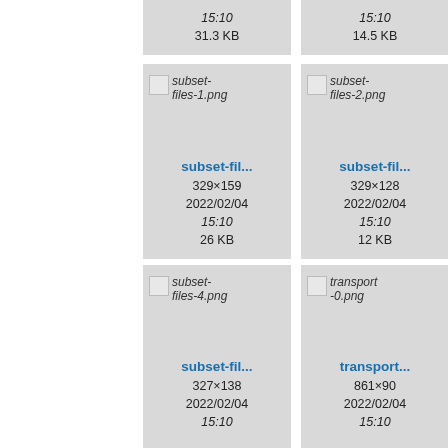15:10
31.3 KB
15:10
14.5 KB
[Figure (screenshot): File thumbnail for subset-files-1.png with broken image icon]
subset-fil...
329×159
2022/02/04
15:10
26 KB
[Figure (screenshot): File thumbnail for subset-files-2.png with broken image icon]
subset-fil...
329×128
2022/02/04
15:10
12 KB
[Figure (screenshot): File thumbnail for subset-files-4.png with broken image icon]
subset-fil...
327×138
2022/02/04
15:10
[Figure (screenshot): File thumbnail for transport-0.png with broken image icon]
transport...
861×90
2022/02/04
15:10